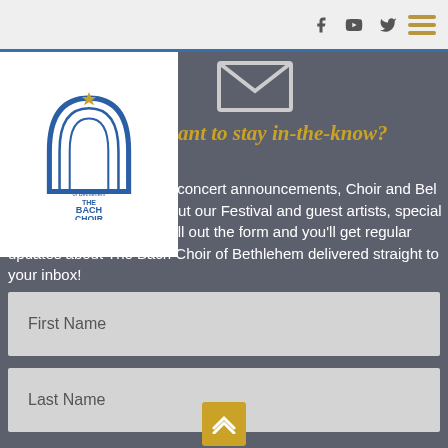Navigation bar with social icons (Facebook, YouTube, Twitter) and hamburger menu
[Figure (logo): The Bach Choir of Bethlehem logo — blue arch with star, text THE BACH CHOIR of Bethlehem]
[Figure (illustration): Email/envelope icon outline]
ant to stay in-the-know?
e to our newsletter to get concert announcements, Choir and Bel Canto news, updates about our Festival and guest artists, special offers and more. Simply fill out the form and you'll get regular updates about The Bach Choir of Bethlehem delivered straight to your inbox!
First Name
Last Name